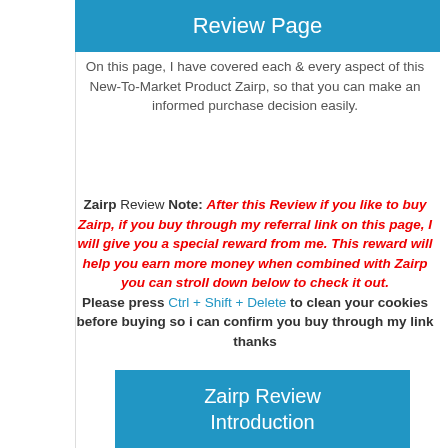Review Page
On this page, I have covered each & every aspect of this New-To-Market Product Zairp, so that you can make an informed purchase decision easily.
Zairp Review Note: After this Review if you like to buy Zairp, if you buy through my referral link on this page, I will give you a special reward from me. This reward will help you earn more money when combined with Zairp you can stroll down below to check it out. Please press Ctrl + Shift + Delete to clean your cookies before buying so i can confirm you buy through my link thanks
Zairp Review Introduction